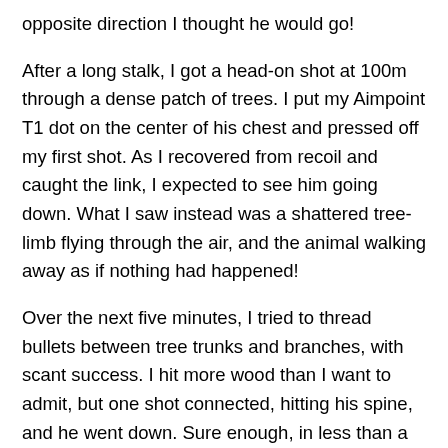opposite direction I thought he would go!
After a long stalk, I got a head-on shot at 100m through a dense patch of trees. I put my Aimpoint T1 dot on the center of his chest and pressed off my first shot. As I recovered from recoil and caught the link, I expected to see him going down. What I saw instead was a shattered tree-limb flying through the air, and the animal walking away as if nothing had happened!
Over the next five minutes, I tried to thread bullets between tree trunks and branches, with scant success. I hit more wood than I want to admit, but one shot connected, hitting his spine, and he went down. Sure enough, in less than a minute, he struggled back to his feet!
As he started to walk away, he entered a small clearing. That